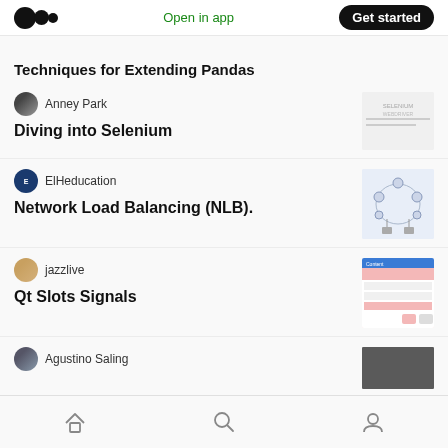Medium app navigation bar — Open in app | Get started
Techniques for Extending Pandas
Anney Park
Diving into Selenium
[Figure (screenshot): Thumbnail image for Diving into Selenium article]
ElHeducation
Network Load Balancing (NLB).
[Figure (network-graph): Network diagram showing load balancing nodes connected in a ring with computers at the bottom]
jazzlive
Qt Slots Signals
[Figure (screenshot): Screenshot of Qt application with pink/red UI elements showing slots and signals interface]
Agustino Saling
Home | Search | Profile navigation icons